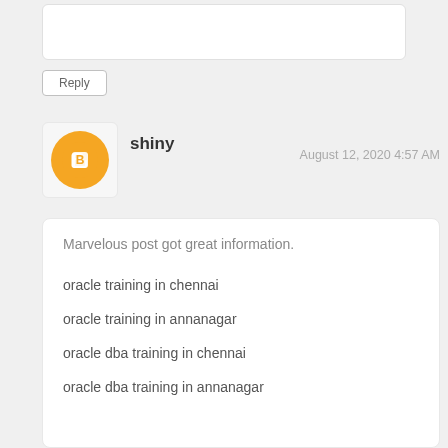[Figure (other): Partial comment input box (cut off at top)]
Reply
shiny
August 12, 2020 4:57 AM
Marvelous post got great information.
oracle training in chennai
oracle training in annanagar
oracle dba training in chennai
oracle dba training in annanagar